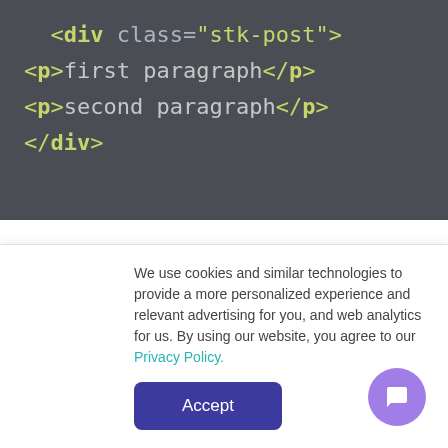[Figure (screenshot): Code block on dark background showing HTML: <div class="stk-post">, <p>first paragraph</p>, <p>second paragraph</p>, </div>]
Paragraphs and headings
Paragraph is a basic content unit in Setka Editor. Any text should be placed inside a paragraph. Along with
We use cookies and similar technologies to provide a more personalized experience and relevant advertising for you, and web analytics for us. By using our website, you agree to our Privacy Policy.